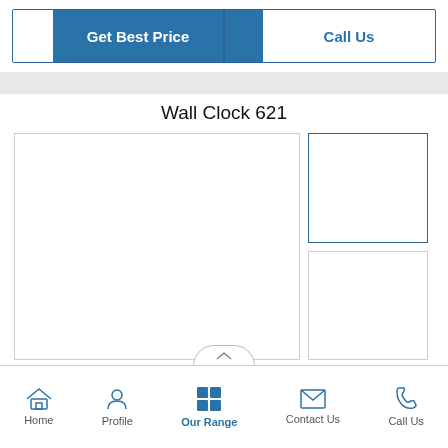[Figure (screenshot): Get Best Price and Call Us buttons at the top of a product page]
Wall Clock 621
[Figure (photo): Main product image area (blank white) for Wall Clock 621]
[Figure (photo): Thumbnail image 1 for Wall Clock 621]
[Figure (photo): Thumbnail image 2 for Wall Clock 621]
Home  Profile  Our Range  Contact Us  Call Us